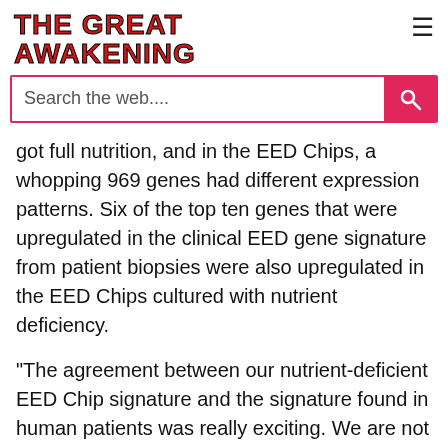THE GREAT AWAKENING
got full nutrition, and in the EED Chips, a whopping 969 genes had different expression patterns. Six of the top ten genes that were upregulated in the clinical EED gene signature from patient biopsies were also upregulated in the EED Chips cultured with nutrient deficiency.
"The agreement between our nutrient-deficient EED Chip signature and the signature found in human patients was really exciting. We are not only able to recreate EED intestinal form and function, but we are also doing it using the same genetic pathways that are operating in human patients. That opens up the possibility that we could test drugs and other treatments on the EED Chip and get a response that could be similar to what you would see in patients," said Fadel.